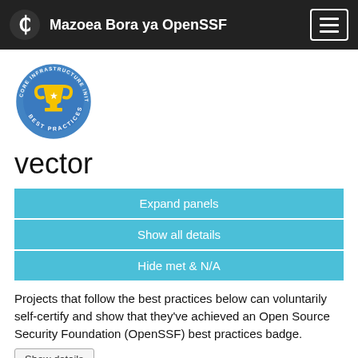Mazoea Bora ya OpenSSF
[Figure (logo): CII Best Practices badge — blue circle with a gold trophy and text 'CORE INFRASTRUCTURE INITIATIVE BEST PRACTICES']
vector
Expand panels
Show all details
Hide met & N/A
Projects that follow the best practices below can voluntarily self-certify and show that they've achieved an Open Source Security Foundation (OpenSSF) best practices badge.
Show details